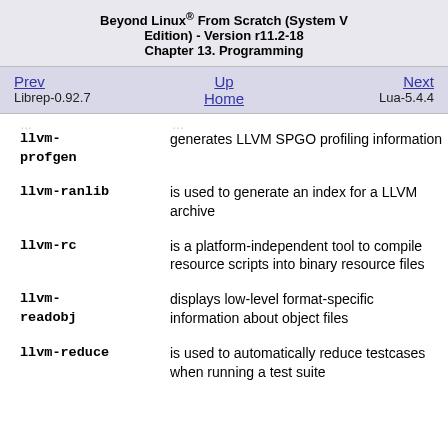Beyond Linux® From Scratch (System V Edition) - Version r11.2-18
Chapter 13. Programming
| Prev | Up | Next |
| --- | --- | --- |
| Librep-0.92.7 | Home | Lua-5.4.4 |
llvm-profgen — generates LLVM SPGO profiling information
llvm-ranlib — is used to generate an index for a LLVM archive
llvm-rc — is a platform-independent tool to compile resource scripts into binary resource files
llvm-readobj — displays low-level format-specific information about object files
llvm-reduce — is used to automatically reduce testcases when running a test suite